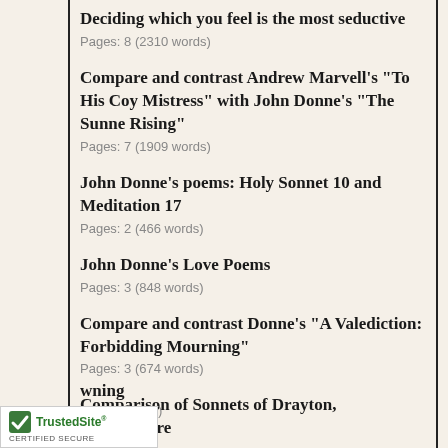Deciding which you feel is the most seductive
Pages: 8 (2310 words)
Compare and contrast Andrew Marvell's "To His Coy Mistress" with John Donne's "The Sunne Rising"
Pages: 7 (1909 words)
John Donne's poems: Holy Sonnet 10 and Meditation 17
Pages: 2 (466 words)
John Donne's Love Poems
Pages: 3 (848 words)
Compare and contrast Donne's "A Valediction: Forbidding Mourning"
Pages: 3 (674 words)
Comparison of Sonnets of Drayton, Shakespeare and Browning
Pages: ... 1320 words)